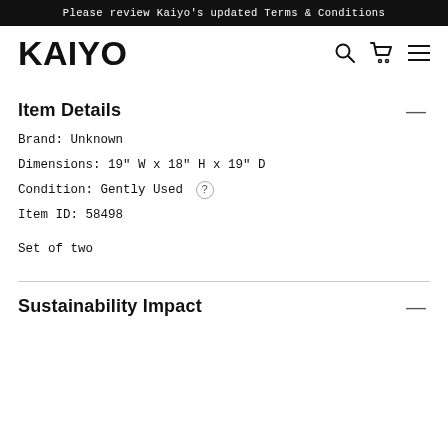Please review Kaiyo's updated Terms & Conditions
[Figure (logo): Kaiyo logo with search, cart, and hamburger menu icons]
Item Details
Brand: Unknown
Dimensions: 19" W x 18" H x 19" D
Condition: Gently Used ?
Item ID: 58498
Set of two
Sustainability Impact